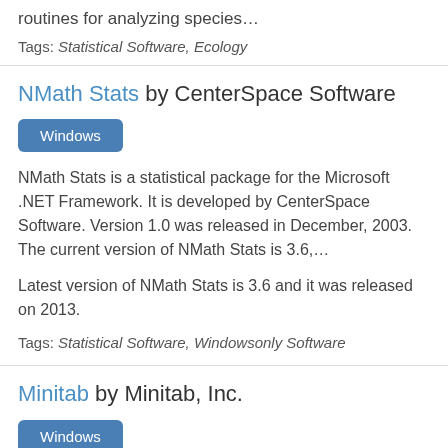routines for analyzing species…
Tags: Statistical Software, Ecology
NMath Stats by CenterSpace Software
Windows
NMath Stats is a statistical package for the Microsoft .NET Framework. It is developed by CenterSpace Software. Version 1.0 was released in December, 2003. The current version of NMath Stats is 3.6,…
Latest version of NMath Stats is 3.6 and it was released on 2013.
Tags: Statistical Software, Windowsonly Software
Minitab by Minitab, Inc.
Windows